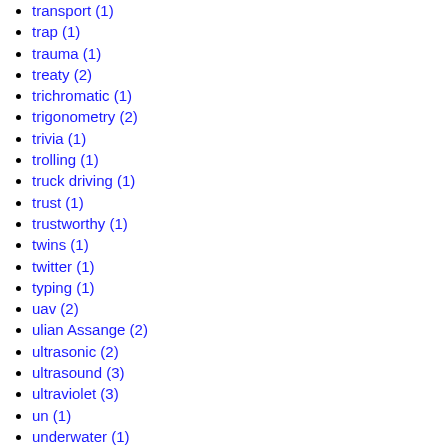transport (1)
trap (1)
trauma (1)
treaty (2)
trichromatic (1)
trigonometry (2)
trivia (1)
trolling (1)
truck driving (1)
trust (1)
trustworthy (1)
twins (1)
twitter (1)
typing (1)
uav (2)
ulian Assange (2)
ultrasonic (2)
ultrasound (3)
ultraviolet (3)
un (1)
underwater (1)
universe (1)
uranium (1)
urination (1)
urine (1)